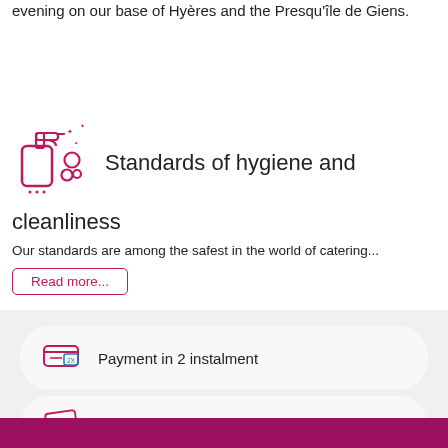evening on our base of Hyères and the Presqu'île de Giens.
[Figure (illustration): Pink/magenta cleaning spray bottle icon with sparkles and bubbles]
Standards of hygiene and cleanliness
Our standards are among the safest in the world of catering...
Read more...
[Figure (illustration): Pink credit card icon with 2X label for payment in 2 instalments]
Payment in 2 instalment
[Figure (illustration): Pink multi-card/wallet icon for multi-card payment]
Multi-card payment